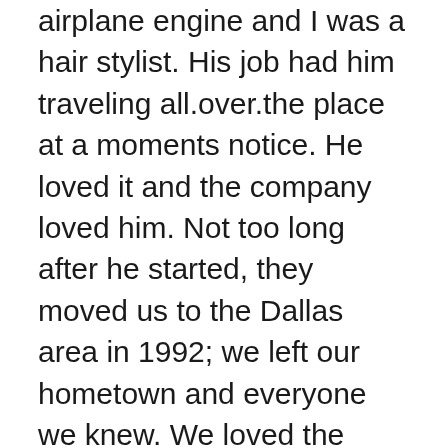airplane engine and I was a hair stylist. His job had him traveling all.over.the place at a moments notice. He loved it and the company loved him. Not too long after he started, they moved us to the Dallas area in 1992; we left our hometown and everyone we knew. We loved the Dallas area, we built a house, had a baby and life was good. A few years later the Company wanted Coach to run his own turbine engine repair shop which was awesome because: Less world traveling at a moments notice. He had a few choices of where to set up the shop west of Dallas; we settled on Scottsdale, AZ. Again, we sold the house and moved to the Phoenix area in